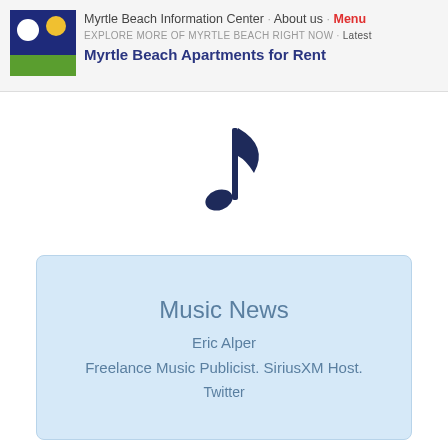Myrtle Beach Information Center · About us · Menu
EXPLORE MORE OF MYRTLE BEACH RIGHT NOW · Latest
Myrtle Beach Apartments for Rent
[Figure (illustration): Musical note icon (eighth note) rendered in dark navy blue]
Music News
Eric Alper
Freelance Music Publicist. SiriusXM Host.
Twitter